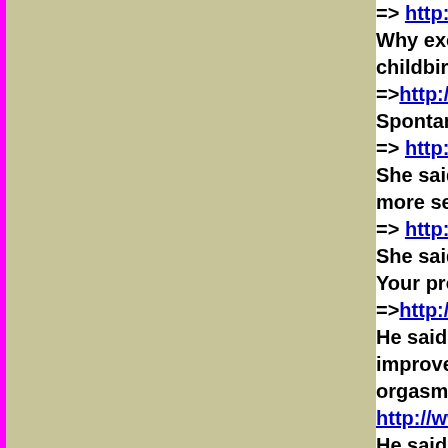==> http://www.actionlove.com/cases/cas...
Why excessive sexual orgasms, including childbirth - the problem of very orgasmic
==>http://www.actionlove.com/cases/case... Spontaneous Female Sexual Orgasm! wh...
==> http://www.actionlove.com/cases/cas...
She said ' I have been using your Viagrov... more sexual orgasm
==> http://www.actionlove.com/cases/cas...
She said ' I ordered your products Moodr... Your products really work. Thank! You h...
==>http://www.actionlove.com/cases/case...
He said 'Thank-you, I am pleased with yo... improvement of cardio function and for b... orgasm. On the action of DopaFibra and
http://www.actionlove.com/cases/case117...
He said 'I make my wife reach the first or... and fast technique.' how to make he achi... and prolapsed/titleed uterus/cervix, and t...
http://www.actionlove.com/cases/case117...
He said ' My girlfriend finds the finger pl... response to the vaginal/uterine contractio... stimulation of the prostate - for prematur...
==> http://www.actionlove.com/cases/cas...
He said ' I've never in my life (that I can r...